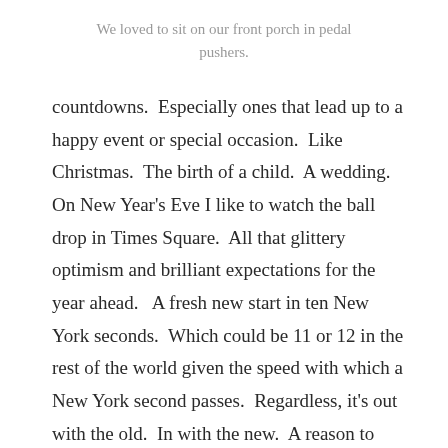We loved to sit on our front porch in pedal pushers.
countdowns.  Especially ones that lead up to a happy event or special occasion.  Like Christmas.  The birth of a child.  A wedding.  On New Year’s Eve I like to watch the ball drop in Times Square.  All that glittery optimism and brilliant expectations for the year ahead.   A fresh new start in ten New York seconds.  Which could be 11 or 12 in the rest of the world given the speed with which a New York second passes.  Regardless, it’s out with the old.  In with the new.  A reason to celebrate.
Even though it’s been decades since I was in school, one of my favorite countdowns still remains that to the start of summer vacation.  There’s nothing else quite like it